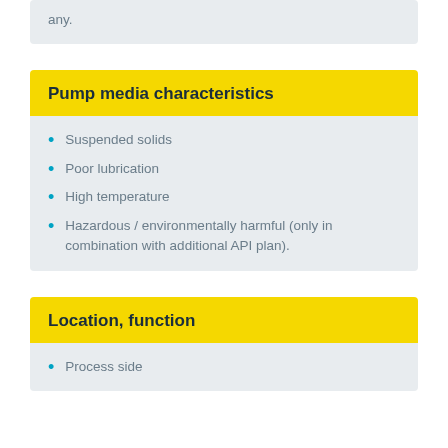any.
Pump media characteristics
Suspended solids
Poor lubrication
High temperature
Hazardous / environmentally harmful (only in combination with additional API plan).
Location, function
Process side